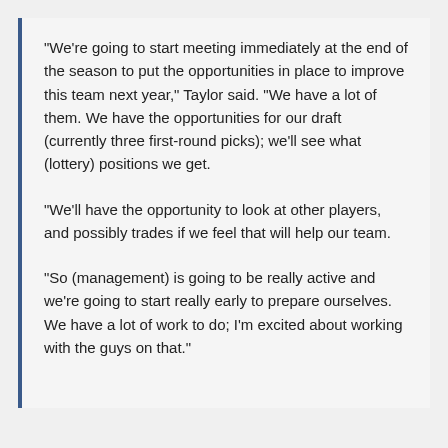"We're going to start meeting immediately at the end of the season to put the opportunities in place to improve this team next year," Taylor said. "We have a lot of them. We have the opportunities for our draft (currently three first-round picks); we'll see what (lottery) positions we get.
"We'll have the opportunity to look at other players, and possibly trades if we feel that will help our team.
"So (management) is going to be really active and we're going to start really early to prepare ourselves. We have a lot of work to do; I'm excited about working with the guys on that."